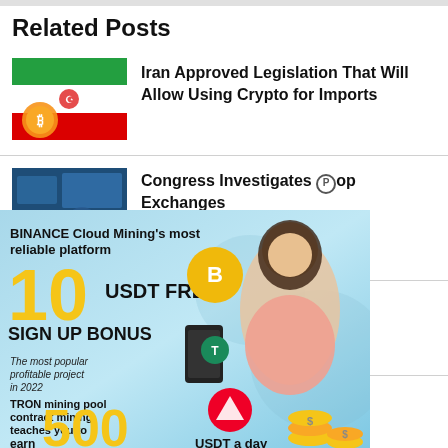Related Posts
Iran Approved Legislation That Will Allow Using Crypto for Imports
Congress Investigates Top Exchanges Fraud
[Figure (infographic): Binance cloud mining advertisement: 10 USDT free sign up bonus, 500 USDT a day, featuring woman and crypto coin imagery]
o Reduce Carbon t
Gains Ground on